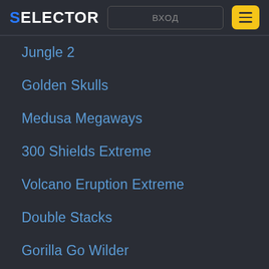SELECTOR | ВХОД | ☰
Jungle 2
Golden Skulls
Medusa Megaways
300 Shields Extreme
Volcano Eruption Extreme
Double Stacks
Gorilla Go Wilder
King Kong Fury
Ever After
Kingdom's Edge